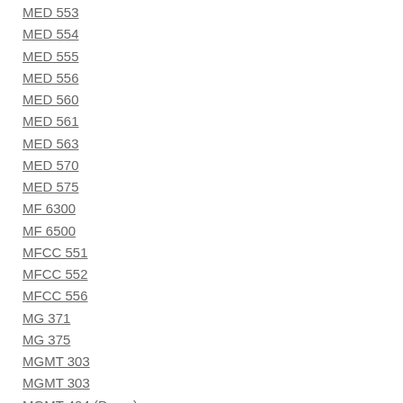MED 553
MED 554
MED 555
MED 556
MED 560
MED 561
MED 563
MED 570
MED 575
MF 6300
MF 6500
MFCC 551
MFCC 552
MFCC 556
MG 371
MG 375
MGMT 303
MGMT 303
MGMT 404 (Devry)